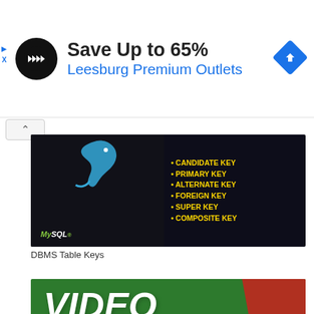[Figure (other): Advertisement banner: circular logo with double arrows, text 'Save Up to 65%' and 'Leesburg Premium Outlets' in blue, blue diamond navigation icon on right]
[Figure (screenshot): MySQL DBMS Table Keys tutorial image on dark background showing MySQL dolphin logo and list: CANDIDATE KEY, PRIMARY KEY, ALTERNATE KEY, FOREIGN KEY, SUPER KEY, COMPOSITE KEY in yellow bold text]
DBMS Table Keys
[Figure (screenshot): Video Lectures promotional banner on green background with italic bold white text 'VIDEO LECTURES', red torn paper effect on right side, red stripe at bottom with 'Class 11' text]
Class 11 Informatics Practices Video Lectures